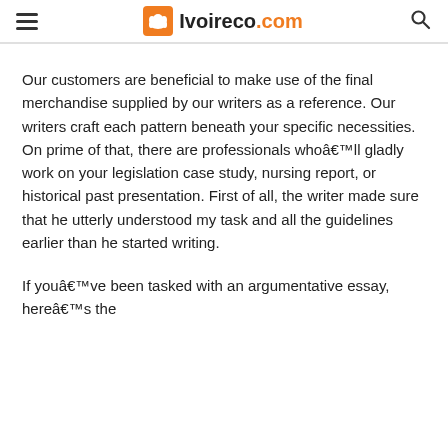Ivoireco.com
Our customers are beneficial to make use of the final merchandise supplied by our writers as a reference. Our writers craft each pattern beneath your specific necessities. On prime of that, there are professionals whoâll gladly work on your legislation case study, nursing report, or historical past presentation. First of all, the writer made sure that he utterly understood my task and all the guidelines earlier than he started writing.
If youâve been tasked with an argumentative essay, hereâs the